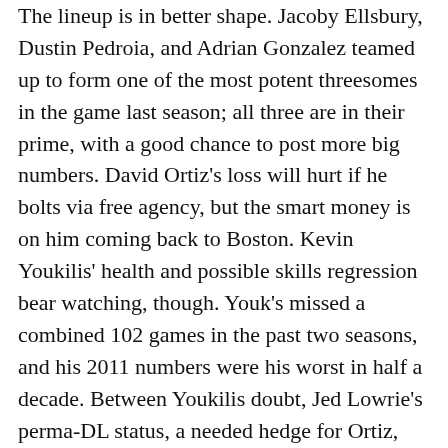The lineup is in better shape. Jacoby Ellsbury, Dustin Pedroia, and Adrian Gonzalez teamed up to form one of the most potent threesomes in the game last season; all three are in their prime, with a good chance to post more big numbers. David Ortiz's loss will hurt if he bolts via free agency, but the smart money is on him coming back to Boston. Kevin Youkilis' health and possible skills regression bear watching, though. Youk's missed a combined 102 games in the past two seasons, and his 2011 numbers were his worst in half a decade. Between Youkilis doubt, Jed Lowrie's perma-DL status, a needed hedge for Ortiz, and concerns over Josh Reddick's ability to produce as an everyday player and Carl Crawford's weak bat vs. lefties even in non-disaster seasons, acquiring a right-handed-hitting third baseman/DH and/or a righty-swinging corner outfielder will be likely priorities. Michael Cuddyer's asking price is said to be high; if it eases a little, he could be a great fit in Boston. Young'ns Ryan Kalish, Ryan Lavarnway